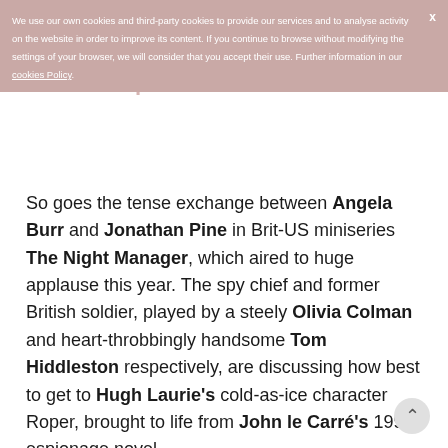We use our own cookies and third-party cookies to provide our services and to analyse activity on the website in order to improve its content. If you continue to browse without modifying the settings of your browser, we will consider that you accept their use. Further information in our cookies Policy.
'I want to make you an offer. Bring down Richard Roper. I want to put you inside his operation.'
So goes the tense exchange between Angela Burr and Jonathan Pine in Brit-US miniseries The Night Manager, which aired to huge applause this year. The spy chief and former British soldier, played by a steely Olivia Colman and heart-throbbingly handsome Tom Hiddleston respectively, are discussing how best to get to Hugh Laurie's cold-as-ice character Roper, brought to life from John le Carré's 1993 espionage novel.
His crime? 'The worst man in the world' is a billionaire arms dealer who trades in human life. His home? Sa Fortaleza in